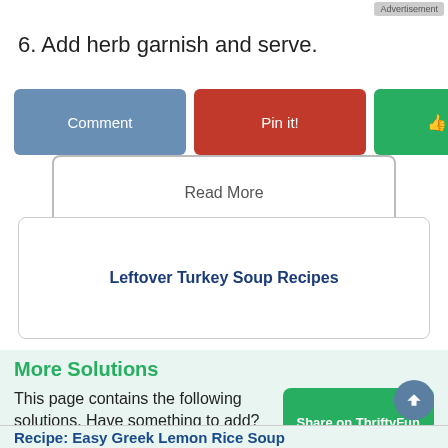Advertisement
6. Add herb garnish and serve.
[Figure (screenshot): Row of action buttons: Comment (blue), Pin it! (red), Yes with thumbs up (green), flag (gray)]
[Figure (screenshot): Read More button with border]
Leftover Turkey Soup Recipes
More Solutions
This page contains the following solutions. Have something to add? Please share your solution!
[Figure (screenshot): Share on ThriftyFun green button]
Recipe: Easy Greek Lemon Rice Soup